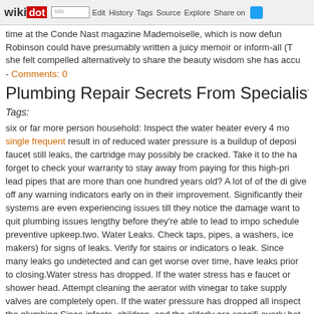wikidot | site | Edit | History | Tags | Source | Explore | Share on
time at the Conde Nast magazine Mademoiselle, which is now defun Robinson could have presumably written a juicy memoir or inform-all (T she felt compelled alternatively to share the beauty wisdom she has accu
- Comments: 0
Plumbing Repair Secrets From Specialists - 16 Se
Tags:
six or far more person household: Inspect the water heater every 4 mo single frequent result in of reduced water pressure is a buildup of deposi faucet still leaks, the cartridge may possibly be cracked. Take it to the ha forget to check your warranty to stay away from paying for this high-pri lead pipes that are more than one hundred years old? A lot of of the di give off any warning indicators early on in their improvement. Significantly their systems are even experiencing issues till they notice the damage want to quit plumbing issues lengthy before they're able to lead to impo schedule preventive upkeep.two. Water Leaks. Check taps, pipes, a washers, ice makers) for signs of leaks. Verify for stains or indicators o leak. Since many leaks go undetected and can get worse over time, have leaks prior to closing.Water stress has dropped. If the water stress has e faucet or shower head. Attempt cleaning the aerator with vinegar to take supply valves are completely open. If the water pressure has dropped all inspect the plumbing.Since infants, children, and the elderly are specifi overly hot water in the bath, 1 of the most essential methods of prevent temperature is set to a secure temperature.I recently had to caulk about tub. I am absolutely glad I invested in a good caulking gun like you talked you desire to obtain guidance relating to related resource site kindly che